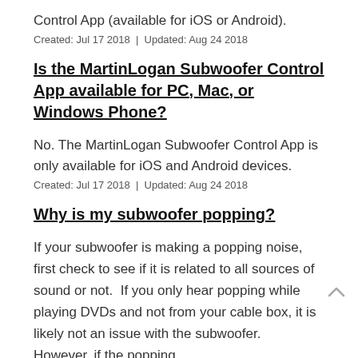Control App (available for iOS or Android).
Created: Jul 17 2018  |  Updated: Aug 24 2018
Is the MartinLogan Subwoofer Control App available for PC, Mac, or Windows Phone?
No. The MartinLogan Subwoofer Control App is only available for iOS and Android devices.
Created: Jul 17 2018  |  Updated: Aug 24 2018
Why is my subwoofer popping?
If your subwoofer is making a popping noise, first check to see if it is related to all sources of sound or not.  If you only hear popping while playing DVDs and not from your cable box, it is likely not an issue with the subwoofer.  However, if the popping